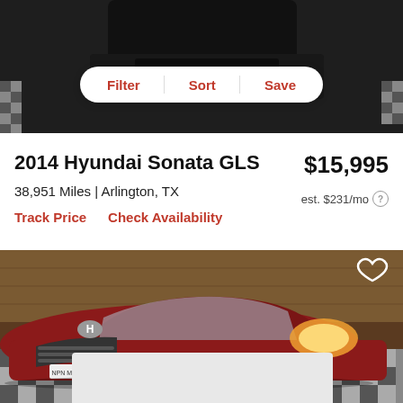[Figure (photo): Top portion of a car listing page showing a dark vehicle photo with checkered floor, partially visible at the top]
Filter | Sort | Save
2014 Hyundai Sonata GLS
$15,995
38,951 Miles | Arlington, TX
est. $231/mo ?
Track Price   Check Availability
[Figure (photo): Red 2014 Hyundai Sonata GLS parked in a dealership with checkered floor, front three-quarter view, with a heart/save icon in the upper right corner]
[Figure (photo): Bottom portion showing a light gray rectangle, partial next listing preview]